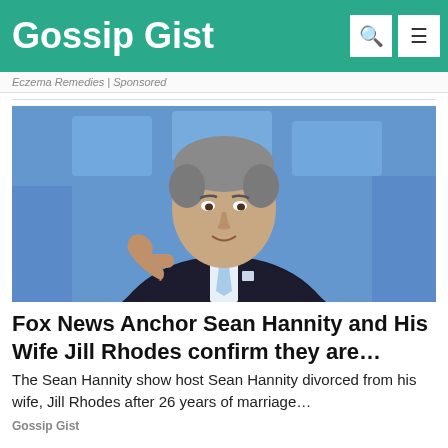Gossip Gist
Eczema Remedies | Sponsored
[Figure (photo): Sean Hannity, Fox News anchor, gesturing with his hand, wearing a dark suit and light blue tie, with a blue studio background.]
Fox News Anchor Sean Hannity and His Wife Jill Rhodes confirm they are…
The Sean Hannity show host Sean Hannity divorced from his wife, Jill Rhodes after 26 years of marriage…
Gossip Gist